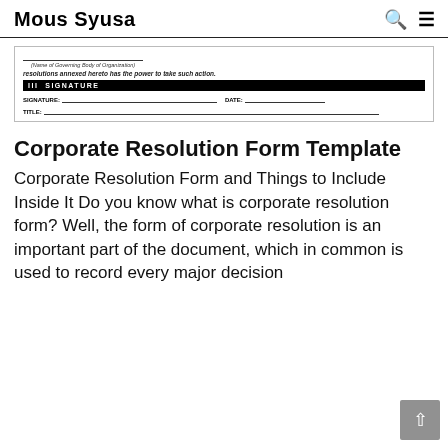Mous Syusa
[Figure (other): Partial corporate resolution form snippet showing: a line for Name of Governing Body of Organization, text 'resolutions annexed hereto has the power to take such action.', a black header bar reading 'III SIGNATURE', fields for SIGNATURE, DATE, and TITLE with underlines.]
Corporate Resolution Form Template
Corporate Resolution Form and Things to Include Inside It Do you know what is corporate resolution form? Well, the form of corporate resolution is an important part of the document, which in common is used to record every major decision